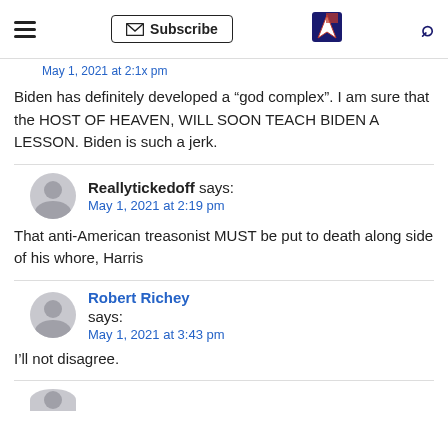Subscribe [navigation header with hamburger menu, subscribe button, star logo, search icon]
May 1, 2021 at 2:1x pm
Biden has definitely developed a “god complex”. I am sure that the HOST OF HEAVEN, WILL SOON TEACH BIDEN A LESSON. Biden is such a jerk.
Reallytickedoff says: May 1, 2021 at 2:19 pm
That anti-American treasonist MUST be put to death along side of his whore, Harris
Robert Richey says: May 1, 2021 at 3:43 pm
I’ll not disagree.